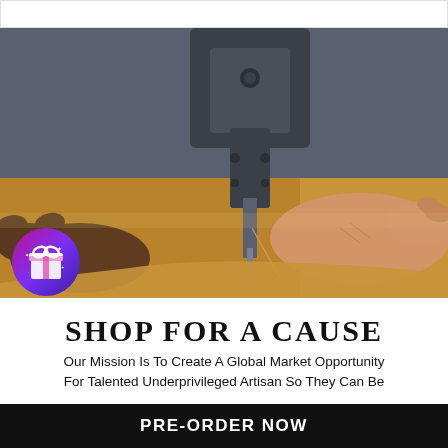[Figure (photo): Close-up photo of hands working at a sewing machine, stitching tan/brown leather fabric. Industrial sewing machine needle visible prominently.]
[Figure (illustration): Circular badge with purple-to-pink gradient background containing a white gift box icon with sparkles/stars.]
SHOP FOR A CAUSE
Our Mission Is To Create A Global Market Opportunity For Talented Underprivileged Artisan So They Can Be
PRE-ORDER NOW